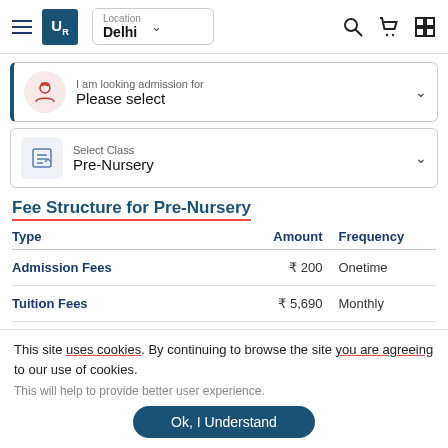[Figure (screenshot): Website header with hamburger menu, UR logo, Location selector showing Delhi, and icons for search, cart, and grid view]
[Figure (screenshot): Dropdown selector: I am looking admission for - Please select]
[Figure (screenshot): Dropdown selector: Select Class - Pre-Nursery]
Fee Structure for Pre-Nursery
| Type | Amount | Frequency |
| --- | --- | --- |
| Admission Fees | ₹ 200 | Onetime |
| Tuition Fees | ₹ 5,690 | Monthly |
This site uses cookies. By continuing to browse the site you are agreeing to our use of cookies.
This will help to provide better user experience.
Ok, I Understand